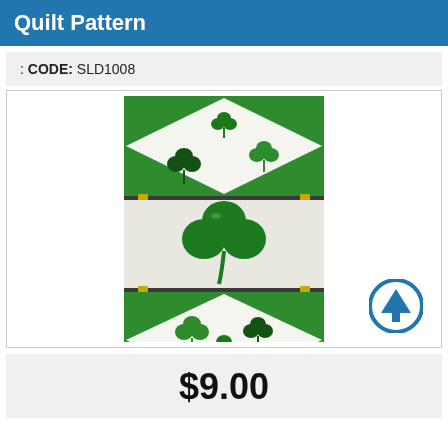Quilt Pattern
: CODE: SLD1008
[Figure (photo): A shamrock/clover quilt pattern table runner with three sections: top section features a diamond layout with green corners and multiple shamrocks on white background, middle section has a large green shamrock on white/cream background, bottom section mirrors the top with smaller shamrocks on white with green diamond corners. A blue circular up-arrow button is overlaid in the bottom-right corner.]
$9.00